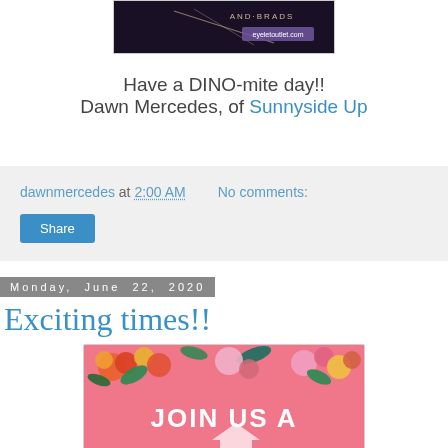[Figure (photo): Top portion of a blog post image showing jewelry/accessories on a dark background with text 'AND BRADS' and 'eyeletoutlet.com']
Have a DINO-mite day!!
Dawn Mercedes, of Sunnyside Up
dawnmercedes at 2:00 AM   No comments:
Share
Monday, June 22, 2020
Exciting times!!
[Figure (photo): Floral invitation image on pink background with flowers and text 'JOIN US A...' (partially visible)]